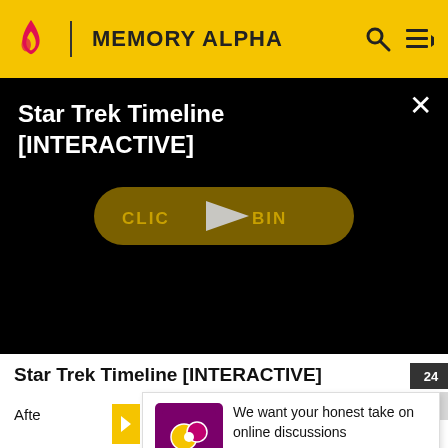MEMORY ALPHA
Star Trek Timeline [INTERACTIVE]
[Figure (screenshot): Video player with black background showing title 'Star Trek Timeline [INTERACTIVE]' and a dark gold 'CLICK TO BEGIN' pill button with a white play triangle in the center. A close (X) button appears in the top right corner.]
Star Trek Timeline [INTERACTIVE]
We want your honest take on online discussions
SURVEY: ONLINE FORUMS
Afte  and
Kirk a
office  on